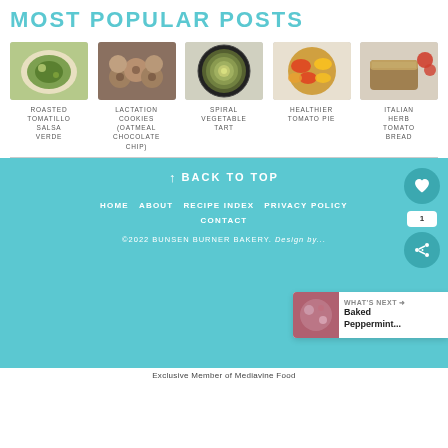MOST POPULAR POSTS
[Figure (photo): Roasted Tomatillo Salsa Verde in a white bowl]
ROASTED TOMATILLO SALSA VERDE
[Figure (photo): Lactation Cookies (Oatmeal Chocolate Chip) on a rack]
LACTATION COOKIES (OATMEAL CHOCOLATE CHIP)
[Figure (photo): Spiral Vegetable Tart]
SPIRAL VEGETABLE TART
[Figure (photo): Healthier Tomato Pie]
HEALTHIER TOMATO PIE
[Figure (photo): Italian Herb Tomato Bread]
ITALIAN HERB TOMATO BREAD
↑ BACK TO TOP
HOME
ABOUT
RECIPE INDEX
PRIVACY POLICY
CONTACT
©2022 BUNSEN BURNER BAKERY. Design by...
Exclusive Member of Mediavine Food
WHAT'S NEXT → Baked Peppermint...